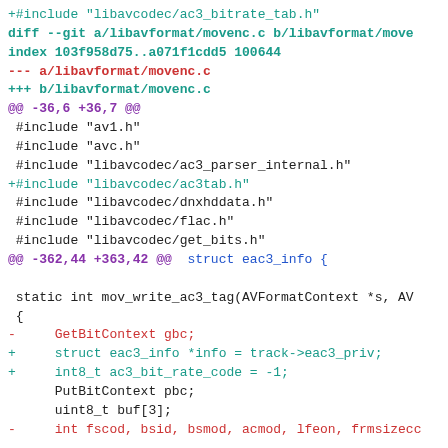[Figure (screenshot): A git diff code snippet showing changes to libavformat/movenc.c. Lines added are shown in teal/cyan, removed lines in red, context lines in dark/blue, and hunk headers in purple/teal.]